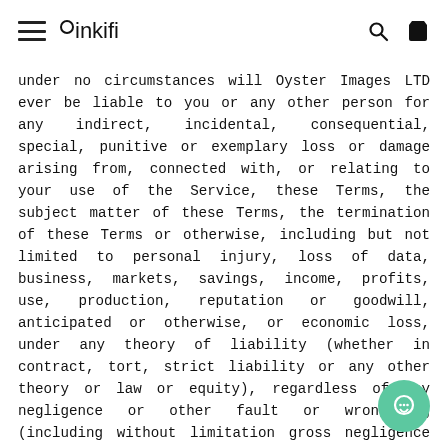inkifi
under no circumstances will Oyster Images LTD ever be liable to you or any other person for any indirect, incidental, consequential, special, punitive or exemplary loss or damage arising from, connected with, or relating to your use of the Service, these Terms, the subject matter of these Terms, the termination of these Terms or otherwise, including but not limited to personal injury, loss of data, business, markets, savings, income, profits, use, production, reputation or goodwill, anticipated or otherwise, or economic loss, under any theory of liability (whether in contract, tort, strict liability or any other theory or law or equity), regardless of any negligence or other fault or wrongdoing (including without limitation gross negligence and fundamental breach) by Oyster Images LTD or any person for whom Oyster Images LTD is responsible, and even if Oyster Images LTD has been advised of the possibility of such loss or damage being incurred.